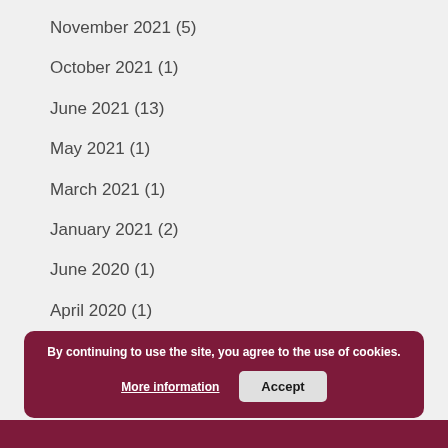November 2021 (5)
October 2021 (1)
June 2021 (13)
May 2021 (1)
March 2021 (1)
January 2021 (2)
June 2020 (1)
April 2020 (1)
Dig deeper
By continuing to use the site, you agree to the use of cookies. More information Accept